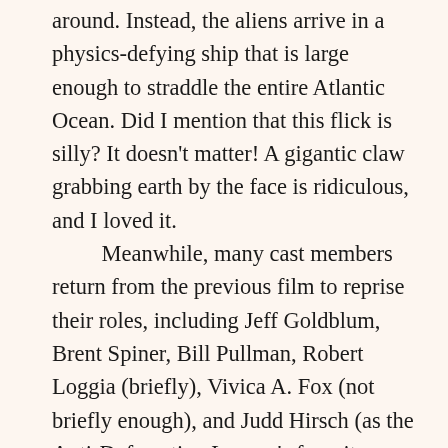around. Instead, the aliens arrive in a physics-defying ship that is large enough to straddle the entire Atlantic Ocean. Did I mention that this flick is silly? It doesn't matter! A gigantic claw grabbing earth by the face is ridiculous, and I loved it.
	Meanwhile, many cast members return from the previous film to reprise their roles, including Jeff Goldblum, Brent Spiner, Bill Pullman, Robert Loggia (briefly), Vivica A. Fox (not briefly enough), and Judd Hirsch (as the Anti-Defamation League's favorite Jewish caricature). They're joined by a younger group of dead-eyed actors led by